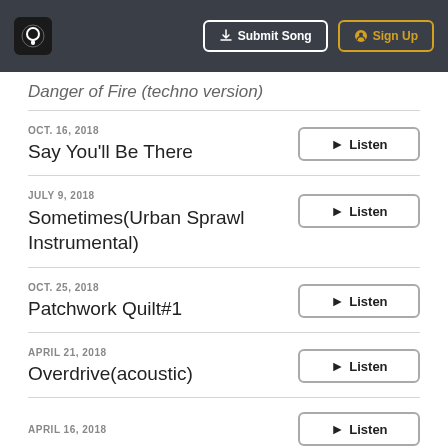Submit Song | Sign Up
Danger of Fire (techno version)
OCT. 16, 2018 — Say You'll Be There
JULY 9, 2018 — Sometimes(Urban Sprawl Instrumental)
OCT. 25, 2018 — Patchwork Quilt#1
APRIL 21, 2018 — Overdrive(acoustic)
APRIL 16, 2018